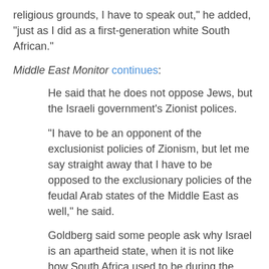religious grounds, I have to speak out," he added, "just as I did as a first-generation white South African."
Middle East Monitor continues:
He said that he does not oppose Jews, but the Israeli government's Zionist polices.
"I have to be an opponent of the exclusionist policies of Zionism, but let me say straight away that I have to be opposed to the exclusionary policies of the feudal Arab states of the Middle East as well," he said.
Goldberg said some people ask why Israel is an apartheid state, when it is not like how South Africa used to be during the apartheid era. They say that in Israel there are some Palestinian members of parliament, and that the Palestinians have equal rights.
"Well I say you don't need to be like South Africa to be an apartheid state, there is a definition in